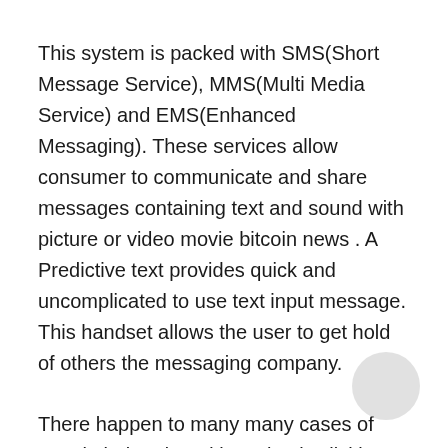This system is packed with SMS(Short Message Service), MMS(Multi Media Service) and EMS(Enhanced Messaging). These services allow consumer to communicate and share messages containing text and sound with picture or video movie bitcoin news . A Predictive text provides quick and uncomplicated to use text input message. This handset allows the user to get hold of others the messaging company.
There happen to many many cases of people being duped into simply clicking on affiliate links, and while 99% top result in no sales, 99% of your visitors who have been “duped” will not return for a site. Trust is a substantial element